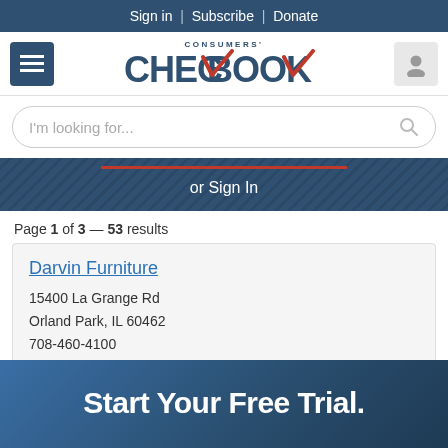Sign in | Subscribe | Donate
[Figure (logo): Consumers' Checkbook logo with red checkmarks]
I'm looking for...
or Sign In
Page 1 of 3 — 53 results
Darvin Furniture
15400 La Grange Rd
Orland Park, IL 60462
708-460-4100

Checkbook's Top Rating:
for Quality: ?
Start Your Free Trial.